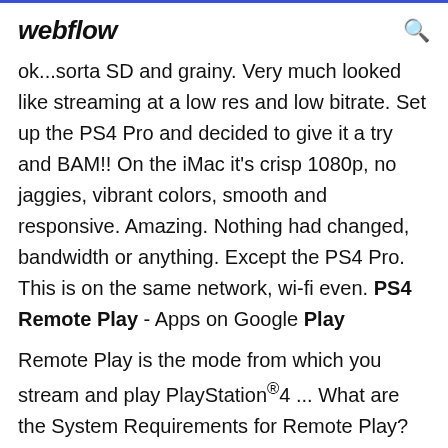webflow
ok...sorta SD and grainy. Very much looked like streaming at a low res and low bitrate. Set up the PS4 Pro and decided to give it a try and BAM!! On the iMac it's crisp 1080p, no jaggies, vibrant colors, smooth and responsive. Amazing. Nothing had changed, bandwidth or anything. Except the PS4 Pro. This is on the same network, wi-fi even. PS4 Remote Play - Apps on Google Play
Remote Play is the mode from which you stream and play PlayStation®4 ... What are the System Requirements for Remote Play? PC. Windows 8.1 or Windows 10 ... You can't remotely play games in 4K from your PS4™ Pro